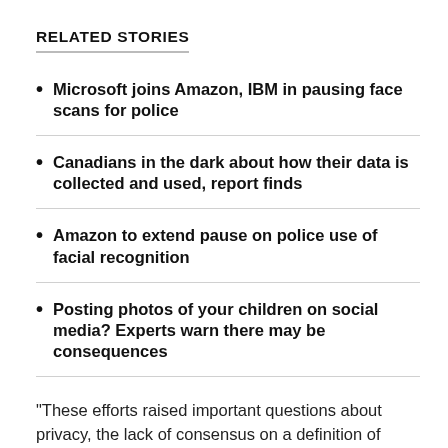RELATED STORIES
Microsoft joins Amazon, IBM in pausing face scans for police
Canadians in the dark about how their data is collected and used, report finds
Amazon to extend pause on police use of facial recognition
Posting photos of your children on social media? Experts warn there may be consequences
"These efforts raised important questions about privacy, the lack of consensus on a definition of 'emotions,' and the inability to generalize the